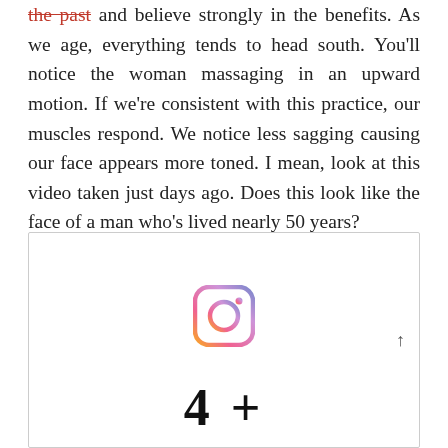the past and believe strongly in the benefits. As we age, everything tends to head south. You'll notice the woman massaging in an upward motion. If we're consistent with this practice, our muscles respond. We notice less sagging causing our face appears more toned. I mean, look at this video taken just days ago. Does this look like the face of a man who's lived nearly 50 years?
[Figure (screenshot): A framed white box containing an Instagram logo icon centered in the upper portion, with a small upward arrow on the right side, and large bold numbers/text partially visible at the bottom edge.]